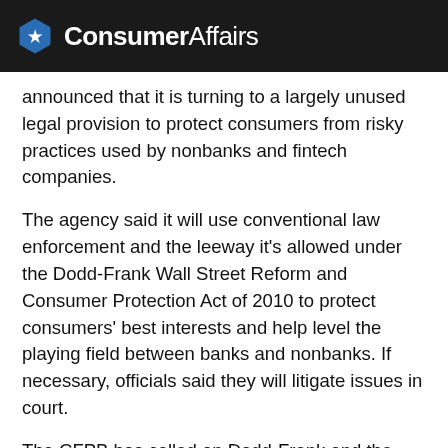ConsumerAffairs
announced that it is turning to a largely unused legal provision to protect consumers from risky practices used by nonbanks and fintech companies.
The agency said it will use conventional law enforcement and the leeway it's allowed under the Dodd-Frank Wall Street Reform and Consumer Protection Act of 2010 to protect consumers' best interests and help level the playing field between banks and nonbanks. If necessary, officials said they will litigate issues in court.
The CFPB has called on Dodd-Frank and the Consumer Protection Act a handful of times to conduct supervisory examinations to review the books and records of regulated entities in the last 10 years. In 2014, Bank of America was ordered to pay $727